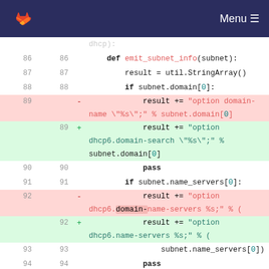GitLab navigation with Menu button
[Figure (screenshot): Code diff view showing changes to emit_subnet_info function, lines 86-95 plus hunk header, with removed lines highlighted in red and added lines in green]
86  86      def emit_subnet_info(subnet):
87  87          result = util.StringArray()
88  88          if subnet.domain[0]:
89  -           result += "option domain-name \"%s\";" % subnet.domain[0]
89  +           result += "option dhcp6.domain-search \"%s\";" % subnet.domain[0]
90  90              pass
91  91          if subnet.name_servers[0]:
92  -           result += "option dhcp6.domain-name-servers %s;" % (
92  +           result += "option dhcp6.name-servers %s;" % (
93  93              subnet.name_servers[0])
94  94              pass
95  95          if subnet.ntp_servers[0]:
...  ...  @@ -102,51 +102,76 @@ def
emit_hosts(tree, options, net):